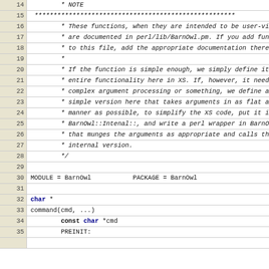Source code listing lines 14-35, BarnOwl XS module
14: * NOTE
15: (stars line)
16: * These functions, when they are intended to be user-visible,
17: * are documented in perl/lib/BarnOwl.pm. If you add functions
18: * to this file, add the appropriate documentation there!
19: *
20: * If the function is simple enough, we simply define its
21: * entire functionality here in XS. If, however, it needs
22: * complex argument processing or something, we define a
23: * simple version here that takes arguments in as flat a
24: * manner as possible, to simplify the XS code, put it in
25: * BarnOwl::Intenal::, and write a perl wrapper in BarnOwl.pm
26: * that munges the arguments as appropriate and calls the
27: * internal version.
28: */
29:
30: MODULE = BarnOwl    PACKAGE = BarnOwl
31:
32: char *
33: command(cmd, ...)
34:     const char *cmd
35:     PREINIT: